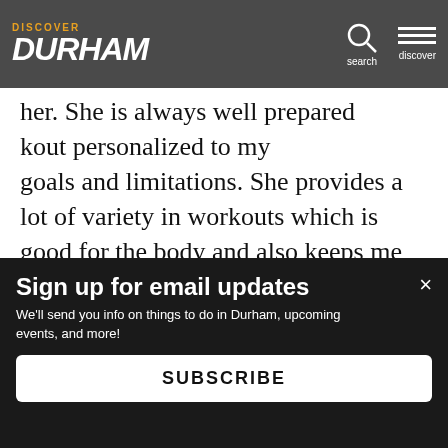Discover Durham — navigation header with logo, search, and menu
her. She is always well prepared ... kout personalized to my goals and limitations. She provides a lot of variety in workouts which is good for the body and also keeps me from getting bored. She's also got an easy-going manner and sense of humor that adds to the pleasure of wo rec
This website uses cookies to ensure you get the best experience on our website.
Sign up for email updates
We'll send you info on things to do in Durham, upcoming events, and more!
SUBSCRIBE